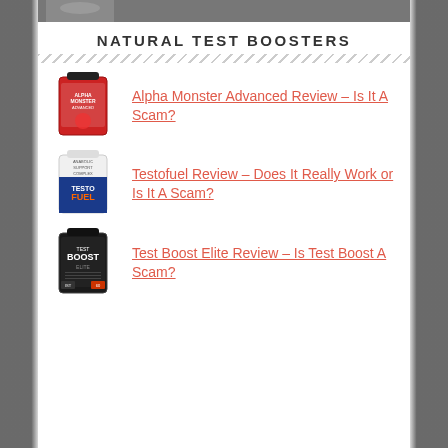[Figure (photo): Top partial image strip - gym/fitness background photo showing partial figure]
NATURAL TEST BOOSTERS
Alpha Monster Advanced Review – Is It A Scam?
Testofuel Review – Does It Really Work or Is It A Scam?
Test Boost Elite Review – Is Test Boost A Scam?